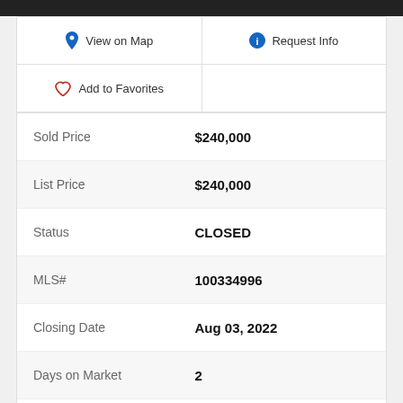| View on Map | Request Info |
| Add to Favorites |  |
| Sold Price | $240,000 |
| List Price | $240,000 |
| Status | CLOSED |
| MLS# | 100334996 |
| Closing Date | Aug 03, 2022 |
| Days on Market | 2 |
| Year Built | 1986 |